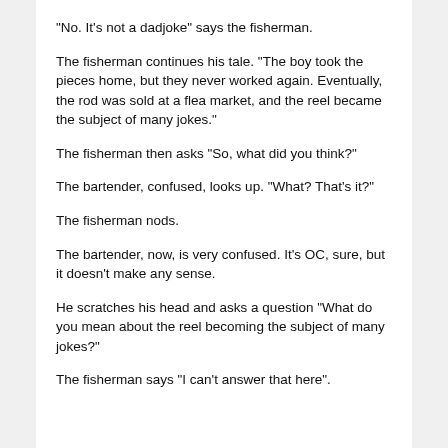"No. It's not a dadjoke" says the fisherman.
The fisherman continues his tale. "The boy took the pieces home, but they never worked again. Eventually, the rod was sold at a flea market, and the reel became the subject of many jokes."
The fisherman then asks "So, what did you think?"
The bartender, confused, looks up. "What? That's it?"
The fisherman nods.
The bartender, now, is very confused. It's OC, sure, but it doesn't make any sense.
He scratches his head and asks a question "What do you mean about the reel becoming the subject of many jokes?"
The fisherman says "I can't answer that here".